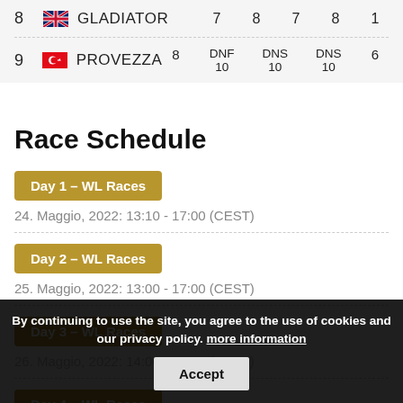| Rank | Country | Team | S1 | S2 | S3 | S4 | S5 |
| --- | --- | --- | --- | --- | --- | --- | --- |
| 8 | GB | GLADIATOR | 7 | 8 | 7 | 8 | 1 |
| 9 | TR | PROVEZZA | 8 | DNF 10 | DNS 10 | DNS 10 | 6 |
Race Schedule
Day 1 – WL Races
24. Maggio, 2022: 13:10 - 17:00 (CEST)
Day 2 – WL Races
25. Maggio, 2022: 13:00 - 17:00 (CEST)
Day 3 – WL Races
26. Maggio, 2022: 14:00 - 17:00 (CEST)
Day 4 – WL Races
27. Maggio, 2022: 13:50 - 16:20 (CEST)
By continuing to use the site, you agree to the use of cookies and our privacy policy. more information